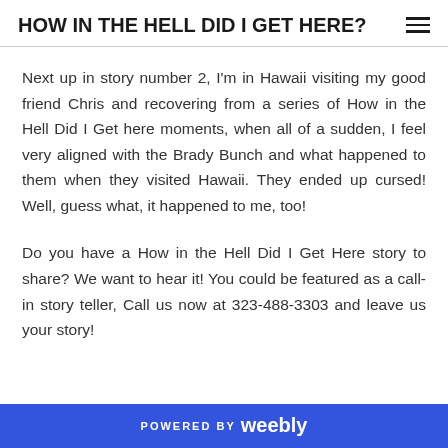HOW IN THE HELL DID I GET HERE?
Next up in story number 2, I'm in Hawaii visiting my good friend Chris and recovering from a series of How in the Hell Did I Get here moments, when all of a sudden, I feel very aligned with the Brady Bunch and what happened to them when they visited Hawaii. They ended up cursed! Well, guess what, it happened to me, too!
Do you have a How in the Hell Did I Get Here story to share? We want to hear it! You could be featured as a call-in story teller, Call us now at 323-488-3303 and leave us your story!
POWERED BY weebly